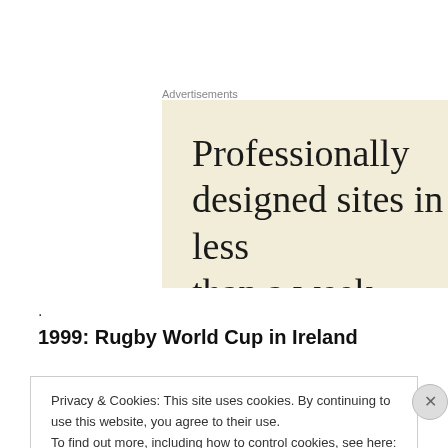Advertisements
[Figure (illustration): Advertisement banner with cream/beige background showing large serif text: 'Professionally designed sites in less than a week' (partially cropped)]
.
1999: Rugby World Cup in Ireland
Privacy & Cookies: This site uses cookies. By continuing to use this website, you agree to their use.
To find out more, including how to control cookies, see here: Cookie Policy